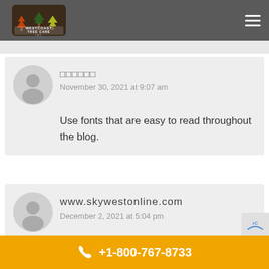Westcoast Tree Care Inc. — navigation header
□□□□□□
November 30, 2021 at 9:07 am
Use fonts that are easy to read throughout the blog.
www.skywestonline.com
December 2, 2021 at 5:04 pm
+1-800-767-8733